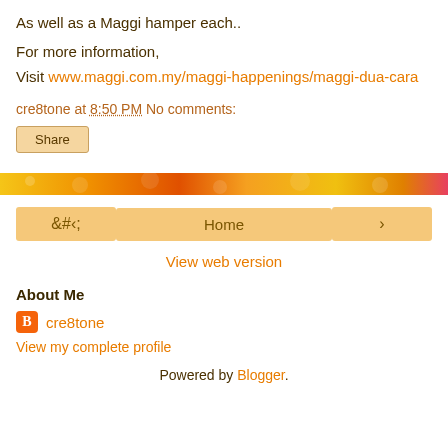As well as a Maggi hamper each..
For more information,
Visit www.maggi.com.my/maggi-happenings/maggi-dua-cara
cre8tone at 8:50 PM    No comments:
Share
[Figure (other): Decorative orange/yellow/red patterned horizontal banner bar]
< Home >
View web version
About Me
cre8tone
View my complete profile
Powered by Blogger.